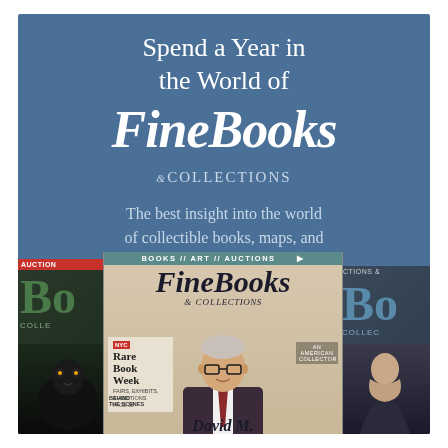Spend a Year in the World of
FineBooks & COLLECTIONS
The best insight into the world of collectible books, maps, and other artifacts of paper. Published four times a year!
[Figure (photo): Three overlapping issues of FineBooks & Collections magazine. Center issue features a man (David M.) on the cover with Rare Book Week feature. Left and right issues partially visible showing magazine masthead.]